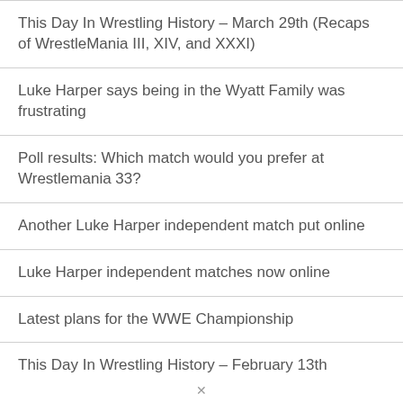This Day In Wrestling History – March 29th (Recaps of WrestleMania III, XIV, and XXXI)
Luke Harper says being in the Wyatt Family was frustrating
Poll results: Which match would you prefer at Wrestlemania 33?
Another Luke Harper independent match put online
Luke Harper independent matches now online
Latest plans for the WWE Championship
This Day In Wrestling History – February 13th